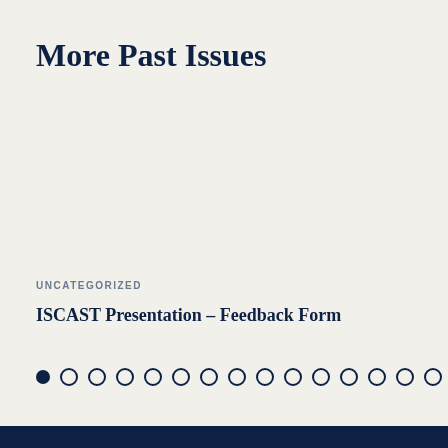More Past Issues
UNCATEGORIZED
ISCAST Presentation – Feedback Form
[Figure (other): Pagination dots: one filled circle followed by fifteen empty circles]